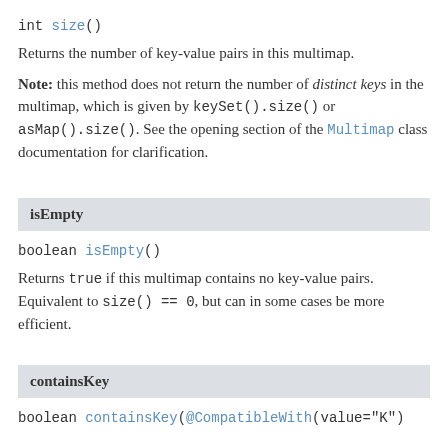int size()
Returns the number of key-value pairs in this multimap.
Note: this method does not return the number of distinct keys in the multimap, which is given by keySet().size() or asMap().size(). See the opening section of the Multimap class documentation for clarification.
isEmpty
boolean isEmpty()
Returns true if this multimap contains no key-value pairs. Equivalent to size() == 0, but can in some cases be more efficient.
containsKey
boolean containsKey(@CompatibleWith(value="K")